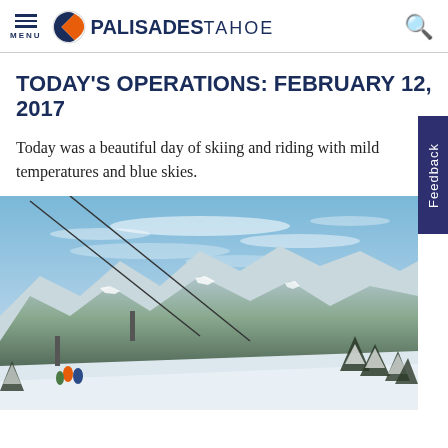MENU | PALISADES TAHOE
TODAY'S OPERATIONS: FEBRUARY 12, 2017
Today was a beautiful day of skiing and riding with mild temperatures and blue skies.
[Figure (photo): A scenic ski resort photo showing snow-covered mountains, ski lift cables, blue skies with wispy clouds, snow-laden trees, and skiers on the mountain at Palisades Tahoe.]